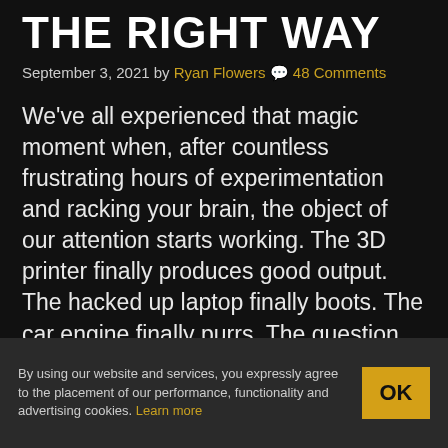THE RIGHT WAY
September 3, 2021 by Ryan Flowers 💬 48 Comments
We've all experienced that magic moment when, after countless frustrating hours of experimentation and racking your brain, the object of our attention starts working. The 3D printer finally produces good output. The hacked up laptop finally boots. The car engine finally purrs. The question is, do we know why it started working?
This is more important than you might think.
By using our website and services, you expressly agree to the placement of our performance, functionality and advertising cookies. Learn more